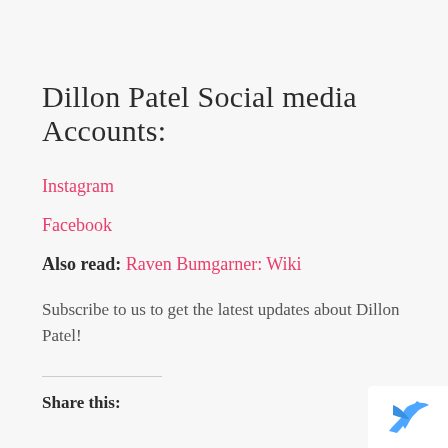Dillon Patel  Social media Accounts:
Instagram
Facebook
Also read: Raven Bumgarner: Wiki
Subscribe to us to get the latest updates about Dillon Patel!
Share this: